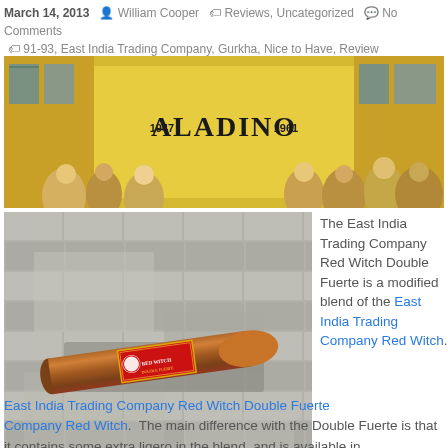March 14, 2013 · William Cooper · Reviews, Uncategorized · No Comments · 91-93, East India Trading Company, Gurkha, Nice to Have, Review
[Figure (photo): Aladino 1947-1961 banner image with illustrated crowd scene and yellow background]
[Figure (photo): Photograph of an East India Trading Company Red Witch Double Fuerte cigar on a stone surface]
East India Trading Company Red Witch Double Fuerte
The East India Trading Company Red Witch Double Fuerte is a modified blend of the East India Trading Company Red Witch.  The main difference with the Double Fuerte is that it contains some extra ligero in the blend, and is available in